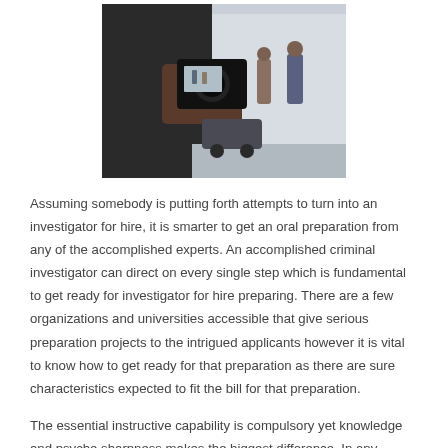[Figure (photo): A person holding a camera photographing two people in the background, viewed from behind]
Assuming somebody is putting forth attempts to turn into an investigator for hire, it is smarter to get an oral preparation from any of the accomplished experts. An accomplished criminal investigator can direct on every single step which is fundamental to get ready for investigator for hire preparing. There are a few organizations and universities accessible that give serious preparation projects to the intrigued applicants however it is vital to know how to get ready for that preparation as there are sure characteristics expected to fit the bill for that preparation.
The essential instructive capability is compulsory yet knowledge and psyche sharpness makes the biggest difference. In any